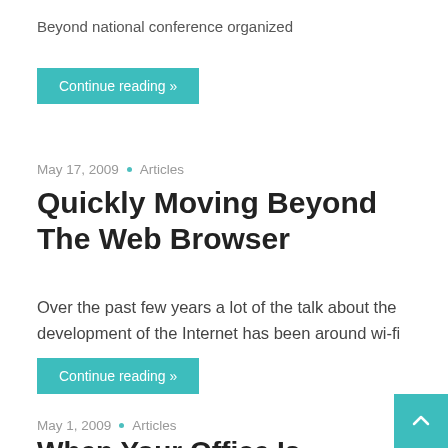Beyond national conference organized
Continue reading »
May 17, 2009 • Articles
Quickly Moving Beyond The Web Browser
Over the past few years a lot of the talk about the development of the Internet has been around wi-fi
Continue reading »
May 1, 2009 • Articles
When Your Office Is Anywhere And